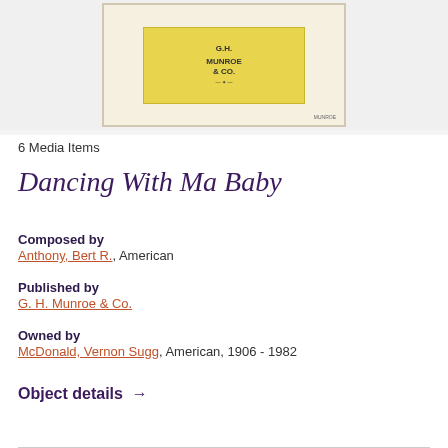[Figure (photo): Partial view of a sheet music cover for 'Dancing With Ma Baby', showing a yellow label with G.H. Munroe & Co. publisher information, mounted on cream/beige card stock background]
6 Media Items
Dancing With Ma Baby
Composed by
Anthony, Bert R., American
Published by
G. H. Munroe & Co.
Owned by
McDonald, Vernon Sugg, American, 1906 - 1982
Object details →